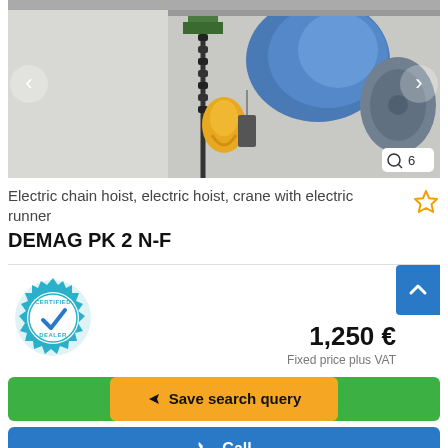[Figure (photo): Photo of a DEMAG electric chain hoist with electric runner, showing chain, yellow hook and blue motor unit mounted on a rail, white background. Navigation arrows on left and right sides.]
Electric chain hoist, electric hoist, crane with electric runner
DEMAG  PK 2 N-F
[Figure (logo): Certified Dealer badge - circular teal gear-shaped badge with checkmark and text CERTIFIED DEALER]
1,250 €
Fixed price plus VAT
Save search query
Call